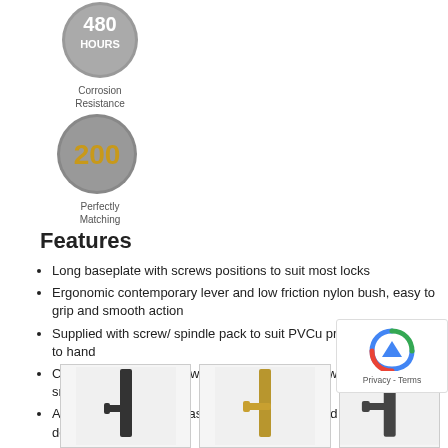[Figure (infographic): Circular grey badge with '480 HOURS' text in white, indicating corrosion resistance rating]
Corrosion Resistance
[Figure (infographic): Circular grey badge with '200' in orange/gold text, indicating 200 perfectly matching items]
Perfectly Matching
Features
Long baseplate with screws positions to suit most locks
Ergonomic contemporary lever and low friction nylon bush, easy to grip and smooth action
Supplied with screw/ spindle pack to suit PVCu profiles – all parts to hand
Colour coordinated screw heads; matching hardware, down to the smallest detail
Architectural common baseplate; for an unrivalled range and suited design options
[Figure (photo): Three door handle product images shown in a row: black handle on long backplate, gold/brass handle, and black ornate handle on backplate]